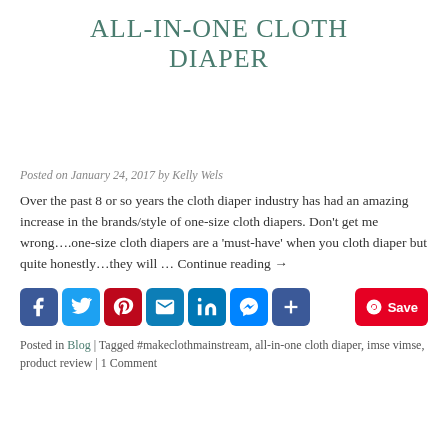ALL-IN-ONE CLOTH DIAPER
Posted on January 24, 2017 by Kelly Wels
Over the past 8 or so years the cloth diaper industry has had an amazing increase in the brands/style of one-size cloth diapers. Don't get me wrong….one-size cloth diapers are a 'must-have' when you cloth diaper but quite honestly…they will … Continue reading →
[Figure (infographic): Social sharing buttons: Facebook, Twitter, Pinterest, Email, LinkedIn, Messenger, Share/Plus, and a Pinterest Save button]
Posted in Blog | Tagged #makeclothmainstream, all-in-one cloth diaper, imse vimse, product review | 1 Comment